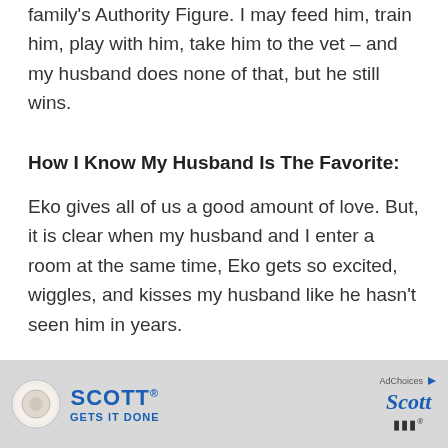family's Authority Figure. I may feed him, train him, play with him, take him to the vet – and my husband does none of that, but he still wins.
How I Know My Husband Is The Favorite:
Eko gives all of us a good amount of love. But, it is clear when my husband and I enter a room at the same time, Eko gets so excited, wiggles, and kisses my husband like he hasn't seen him in years.
It's that kind of love and attention that tells
[Figure (photo): Scott toilet paper advertisement banner at bottom of page. Shows a toilet paper roll on the left, 'SCOTT GETS IT DONE' text in blue in the center, AdChoices label and Scott logo on the right.]